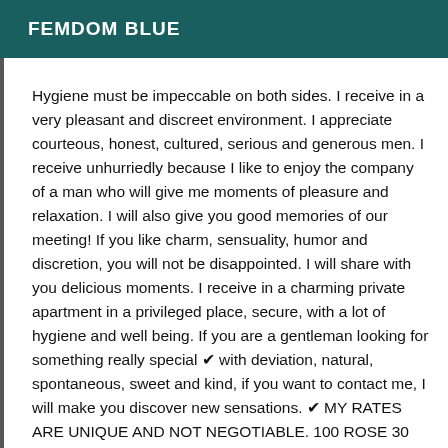FEMDOM BLUE
Hygiene must be impeccable on both sides. I receive in a very pleasant and discreet environment.  I appreciate courteous, honest, cultured, serious and generous men. I receive unhurriedly because I like to enjoy the company of a man who will give me moments of pleasure and relaxation. I will also give you good memories of our meeting! If you like charm, sensuality, humor and discretion, you will not be disappointed. I will share with you delicious moments. I receive in a charming private apartment in a privileged place, secure, with a lot of hygiene and well being. If you are a gentleman looking for something really special ¤ with deviation, natural, spontaneous, sweet and kind, if you want to contact me, I will make you discover new sensations. ¤ MY RATES ARE UNIQUE AND NOT NEGOTIABLE. 100 ROSE 30 min 150 ROSE 45 min 200 ROSE 1H ATTENTION I RECEIVE YOU ONLY WITH A 30 MINUTE APPOINTMENT BEFORE YOU